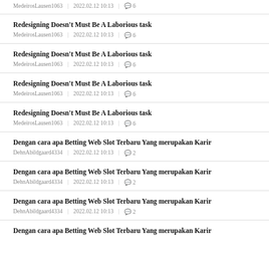MedeirosLausen1063 | 2022.02.12 10:13 | 6
Redesigning Doesn't Must Be A Laborious task
MedeirosLausen1063 | 2022.02.12 10:13 | 6
Redesigning Doesn't Must Be A Laborious task
MedeirosLausen1063 | 2022.02.12 10:13 | 6
Redesigning Doesn't Must Be A Laborious task
MedeirosLausen1063 | 2022.02.12 10:13 | 6
Redesigning Doesn't Must Be A Laborious task
MedeirosLausen1063 | 2022.02.12 10:13 | 6
Dengan cara apa Betting Web Slot Terbaru Yang merupakan Karir
DehnAbildgaard4334 | 2022.02.12 10:13 | 2
Dengan cara apa Betting Web Slot Terbaru Yang merupakan Karir
DehnAbildgaard4334 | 2022.02.12 10:13 | 2
Dengan cara apa Betting Web Slot Terbaru Yang merupakan Karir
DehnAbildgaard4334 | 2022.02.12 10:13 | 2
Dengan cara apa Betting Web Slot Terbaru Yang merupakan Karir
DehnAbildgaard4334 | 2022.02.12 10:13 | 2